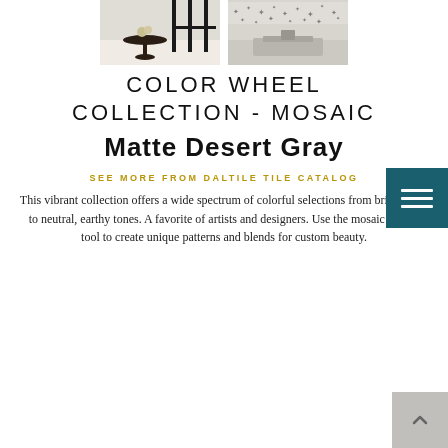[Figure (photo): Two product/interior photos shown side by side: left shows a room interior with white floor tiles, a round black table and chairs, large windows; right shows a mosaic tile pattern wall with star/cross motifs above a sink fixture.]
COLOR WHEEL COLLECTION - MOSAIC
Matte Desert Gray
SEE MORE FROM DALTILE TILE CATALOG
This vibrant collection offers a wide spectrum of colorful selections from bright hues to neutral, earthy tones. A favorite of artists and designers. Use the mosaic design tool to create unique patterns and blends for custom beauty.